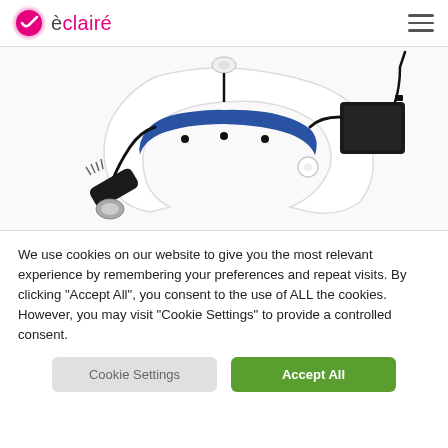èclairé
[Figure (photo): Medical headlight device with white and blue headband frame, black LED light module on the left, battery pack on the right, and cable connecting them. Product shown on white background.]
We use cookies on our website to give you the most relevant experience by remembering your preferences and repeat visits. By clicking "Accept All", you consent to the use of ALL the cookies. However, you may visit "Cookie Settings" to provide a controlled consent.
Cookie Settings | Accept All